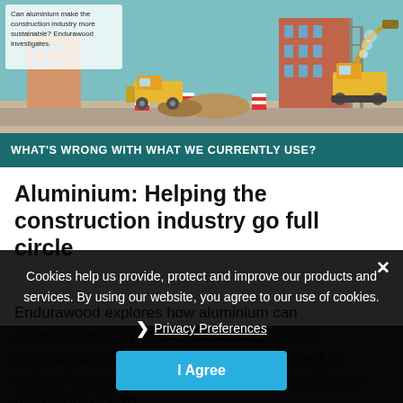[Figure (illustration): Construction site illustration with teal background showing bulldozers, excavators, building under construction, scaffolding, and safety barriers. Text overlay reads: 'Can aluminium make the construction industry more sustainable? Endurawood investigates.']
WHAT'S WRONG WITH WHAT WE CURRENTLY USE?
Aluminium: Helping the construction industry go full circle
Endurawood explores how aluminium can improve building project sustainability. As the construction industry accounts for 40 per cent of national energy use, and construction materials are responsible for 20 ...
Cookies help us provide, protect and improve our products and services. By using our website, you agree to our use of cookies.
Privacy Preferences
I Agree